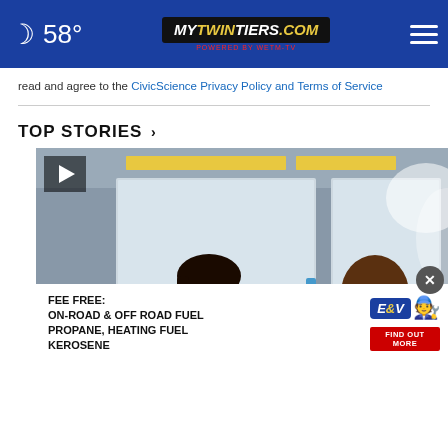58° mytwintiers.com
read and agree to the CivicScience Privacy Policy and Terms of Service
TOP STORIES ›
[Figure (screenshot): Video thumbnail showing two people at a conference table in a meeting room with whiteboards in background. One person wearing orange. Play button overlay in top-left corner. Title overlay reads: Roundtable with ANCA: What is...]
[Figure (other): Advertisement overlay: FEE FREE: ON-ROAD & OFF ROAD FUEL PROPANE, HEATING FUEL KEROSENE with E&V logo and FIND OUT MORE button]